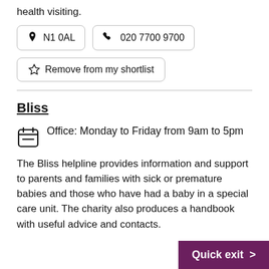health visiting.
N1 0AL
020 7700 9700
Remove from my shortlist
Bliss
Office: Monday to Friday from 9am to 5pm
The Bliss helpline provides information and support to parents and families with sick or premature babies and those who have had a baby in a special care unit. The charity also produces a handbook with useful advice and contacts.
Quick exit >